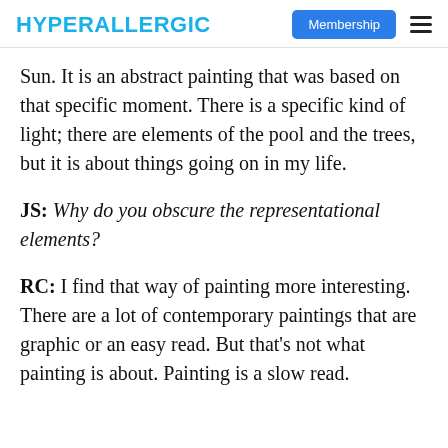HYPERALLERGIC | Membership
Sun. It is an abstract painting that was based on that specific moment. There is a specific kind of light; there are elements of the pool and the trees, but it is about things going on in my life.
JS: Why do you obscure the representational elements?
RC: I find that way of painting more interesting. There are a lot of contemporary paintings that are graphic or an easy read. But that’s not what painting is about. Painting is a slow read.